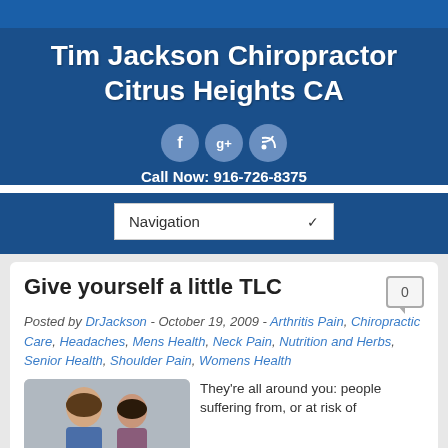Tim Jackson Chiropractor Citrus Heights CA
Call Now: 916-726-8375
Give yourself a little TLC
Posted by DrJackson - October 19, 2009 - Arthritis Pain, Chiropractic Care, Headaches, Mens Health, Neck Pain, Nutrition and Herbs, Senior Health, Shoulder Pain, Womens Health
[Figure (photo): Photo of a couple, a man and woman smiling together]
They're all around you: people suffering from, or at risk of